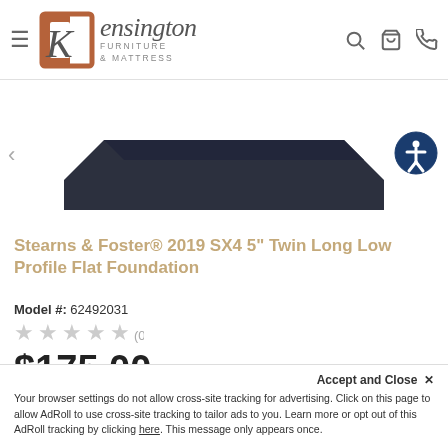Kensington Furniture & Mattress
[Figure (photo): Product photo of a dark navy/black flat foundation mattress base, partially visible at top of product image area]
Stearns & Foster® 2019 SX4 5" Twin Long Low Profile Flat Foundation
Model #: 62492031
★★★★★ (0)
$175.00
Accept and Close ✕
Your browser settings do not allow cross-site tracking for advertising. Click on this page to allow AdRoll to use cross-site tracking to tailor ads to you. Learn more or opt out of this AdRoll tracking by clicking here. This message only appears once.